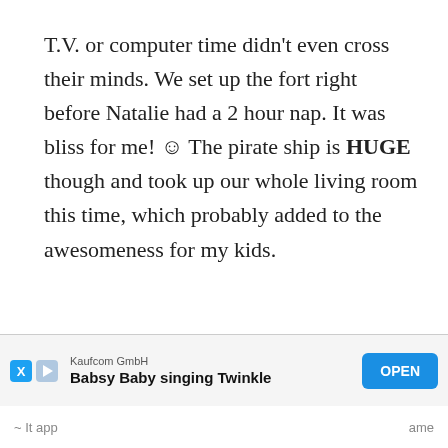T.V. or computer time didn't even cross their minds. We set up the fort right before Natalie had a 2 hour nap. It was bliss for me! ☺ The pirate ship is HUGE though and took up our whole living room this time, which probably added to the awesomeness for my kids.
[Figure (other): Advertisement banner for Kaufcom GmbH app 'Babsy Baby singing Twinkle' with an OPEN button]
~ It app... ame